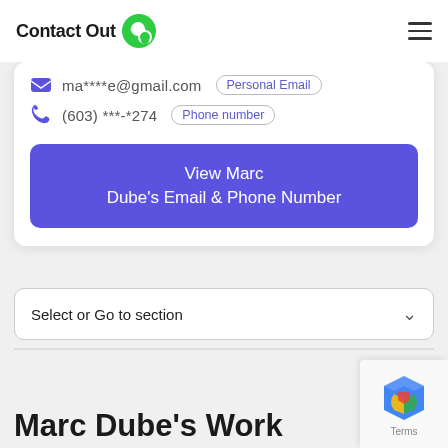Contact Out
ma****e@gmail.com  Personal Email
(603) ***-*274  Phone number
View Marc Dube's Email & Phone Number
Select or Go to section
Marc Dube's Work